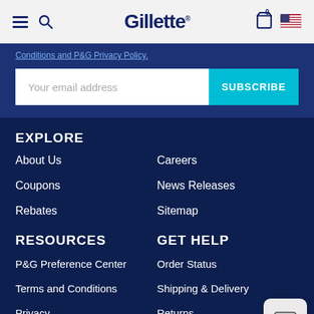Gillette
Conditions and P&G Privacy Policy.
Your email address
SUBSCRIBE
EXPLORE
About Us
Careers
Coupons
News Releases
Rebates
Sitemap
RESOURCES
GET HELP
P&G Preference Center
Order Status
Terms and Conditions
Shipping & Delivery
Privacy
Returns